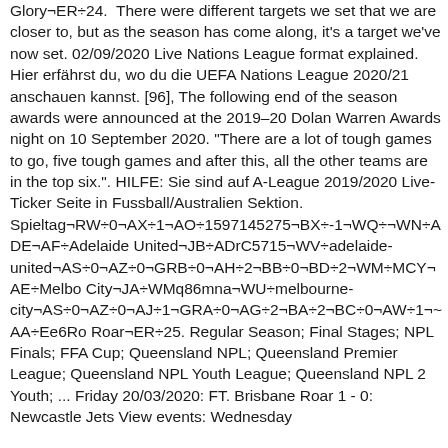Glory¬ER÷24.  There were different targets we set that we are closer to, but as the season has come along, it's a target we've now set. 02/09/2020 Live Nations League format explained. Hier erfährst du, wo du die UEFA Nations League 2020/21 anschauen kannst. [96], The following end of the season awards were announced at the 2019–20 Dolan Warren Awards night on 10 September 2020. "There are a lot of tough games to go, five tough games and after this, all the other teams are in the top six.". HILFE: Sie sind auf A-League 2019/2020 Live-Ticker Seite in Fussball/Australien Sektion. Spieltag¬RW÷0¬AX÷1¬AO÷1597145275¬BX÷-1¬WQ÷¬WN÷ADE¬AF÷Adelaide United¬JB÷ADrC5715¬WV÷adelaide-united¬AS÷0¬AZ÷0¬GRB÷0¬AH÷2¬BB÷0¬BD÷2¬WM÷MCY¬AE÷Melbourne City¬JA÷WMq86mna¬WU÷melbourne-city¬AS÷0¬AZ÷0¬AJ÷1¬GRA÷0¬AG÷2¬BA÷2¬BC÷0¬AW÷1¬~AA÷Ee6Ro Roar¬ER÷25. Regular Season; Final Stages; NPL Finals; FFA Cup; Queensland NPL; Queensland Premier League; Queensland NPL Youth League; Queensland NPL 2 Youth; ... Friday 20/03/2020: FT. Brisbane Roar 1 - 0: Newcastle Jets View events: Wednesday